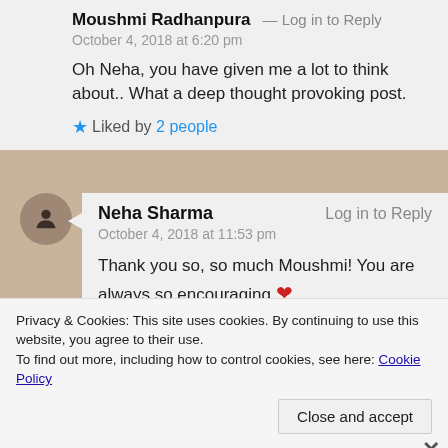Moushmi Radhanpura — Log in to Reply
October 4, 2018 at 6:20 pm

Oh Neha, you have given me a lot to think about.. What a deep thought provoking post.

★ Liked by 2 people
Neha Sharma — Log in to Reply
October 4, 2018 at 11:53 pm

Thank you so, so much Moushmi! You are always so encouraging ❤
Privacy & Cookies: This site uses cookies. By continuing to use this website, you agree to their use.
To find out more, including how to control cookies, see here: Cookie Policy

Close and accept